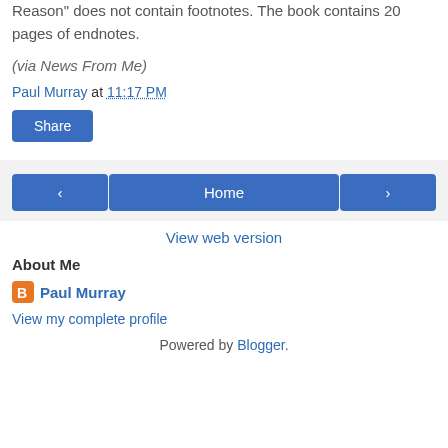Reason" does not contain footnotes. The book contains 20 pages of endnotes.
(via News From Me)
Paul Murray at 11:17 PM
Share
< Home >
View web version
About Me
Paul Murray
View my complete profile
Powered by Blogger.